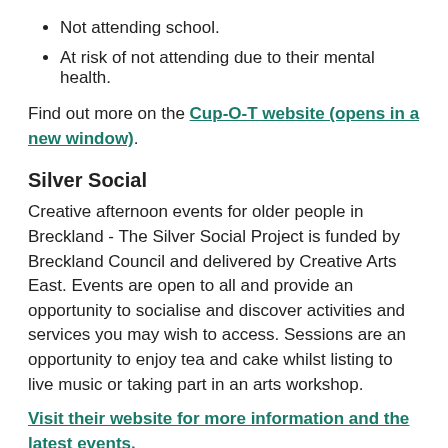Not attending school.
At risk of not attending due to their mental health.
Find out more on the Cup-O-T website (opens in a new window).
Silver Social
Creative afternoon events for older people in Breckland - The Silver Social Project is funded by Breckland Council and delivered by Creative Arts East. Events are open to all and provide an opportunity to socialise and discover activities and services you may wish to access. Sessions are an opportunity to enjoy tea and cake whilst listing to live music or taking part in an arts workshop.
Visit their website for more information and the latest events.